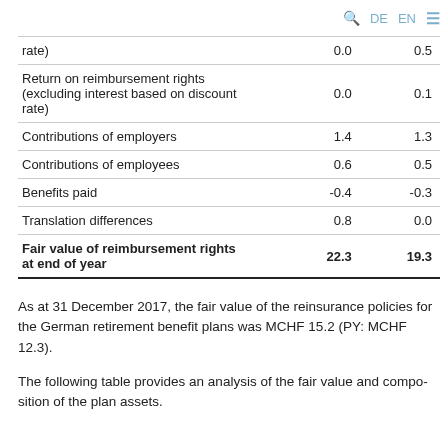🔍 DE EN ☰
|  |  |  |
| --- | --- | --- |
| rate) | 0.0 | 0.5 |
| Return on reimbursement rights (excluding interest based on discount rate) | 0.0 | 0.1 |
| Contributions of employers | 1.4 | 1.3 |
| Contributions of employees | 0.6 | 0.5 |
| Benefits paid | -0.4 | -0.3 |
| Translation differences | 0.8 | 0.0 |
| Fair value of reimbursement rights at end of year | 22.3 | 19.3 |
As at 31 December 2017, the fair value of the reinsurance policies for the German retirement benefit plans was MCHF 15.2 (PY: MCHF 12.3).
The following table provides an analysis of the fair value and composition of the plan assets.